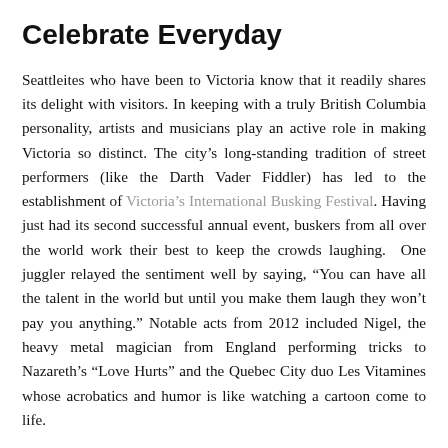Celebrate Everyday
Seattleites who have been to Victoria know that it readily shares its delight with visitors. In keeping with a truly British Columbia personality, artists and musicians play an active role in making Victoria so distinct. The city's long-standing tradition of street performers (like the Darth Vader Fiddler) has led to the establishment of Victoria's International Busking Festival. Having just had its second successful annual event, buskers from all over the world work their best to keep the crowds laughing. One juggler relayed the sentiment well by saying, “You can have all the talent in the world but until you make them laugh they won’t pay you anything.” Notable acts from 2012 included Nigel, the heavy metal magician from England performing tricks to Nazareth’s “Love Hurts” and the Quebec City duo Les Vitamines whose acrobatics and humor is like watching a cartoon come to life.
Seattleites more willing to travel off the beaten path may discover...